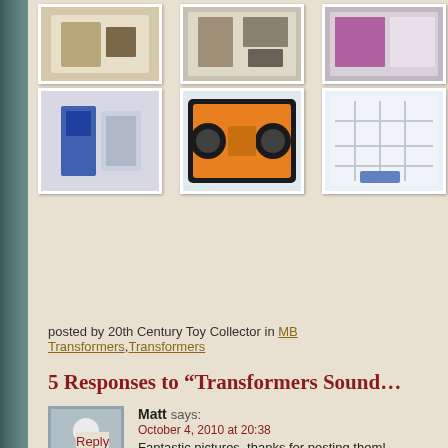[Figure (photo): Grid of 6 thumbnail photos showing Transformers Soundwave toy packaging and contents, arranged in 2 rows of 3]
posted by 20th Century Toy Collector in MB Transformers, Transformers
5 Responses to “Transformers Sound…”
Matt says: October 4, 2010 at 20:38
Fantastic pictures, thanks for posting them!
Reply